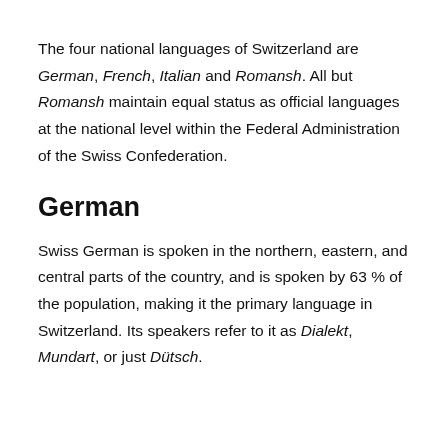The four national languages of Switzerland are German, French, Italian and Romansh. All but Romansh maintain equal status as official languages at the national level within the Federal Administration of the Swiss Confederation.
German
Swiss German is spoken in the northern, eastern, and central parts of the country, and is spoken by 63 % of the population, making it the primary language in Switzerland. Its speakers refer to it as Dialekt, Mundart, or just Dütsch.